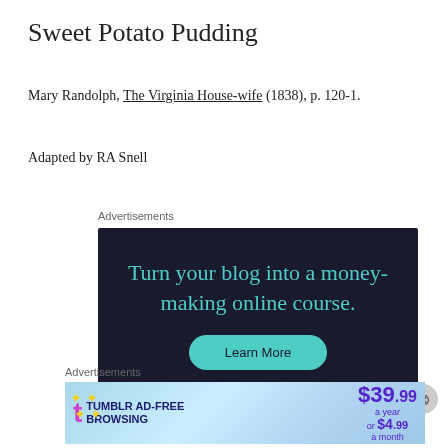Sweet Potato Pudding
Mary Randolph, The Virginia House-wife (1838), p. 120-1.
Adapted by RA Snell
Advertisements
[Figure (screenshot): Advertisement with dark navy background showing teal text 'Turn your blog into a money-making online course.' with a green Learn More button]
Advertisements
[Figure (screenshot): Tumblr Ad-Free Browsing advertisement showing $39.99 a year or $4.99 a month pricing with Tumblr logo]